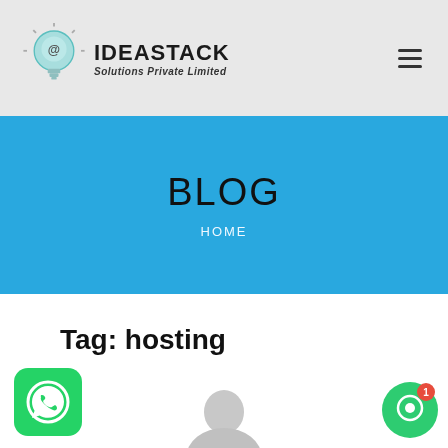[Figure (logo): IdeaStack Solutions Private Limited logo with lightbulb icon and company name]
BLOG
HOME
Tag: hosting
[Figure (illustration): WhatsApp chat button icon (green circle with phone icon)]
[Figure (illustration): User profile avatar (grey silhouette)]
[Figure (illustration): Chat support button with notification badge showing 1]